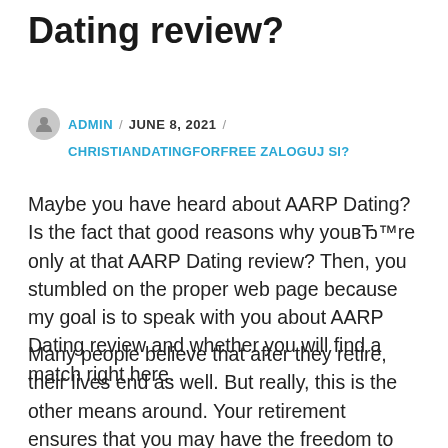Dating review?
ADMIN / JUNE 8, 2021 / CHRISTIANDATINGFORFREE ZALOGUJ SI?
Maybe you have heard about AARP Dating? Is the fact that good reasons why youвЂ™re only at that AARP Dating review? Then, you stumbled on the proper web page because my goal is to speak with you about AARP Dating review and whether you will find a match right here.
Many people believe that after they retire, their lives end as well. But really, this is the other means around. Your retirement ensures that you may have the freedom to accomplish whatever it really is that you want. This can likewise incorporate dating, particularly